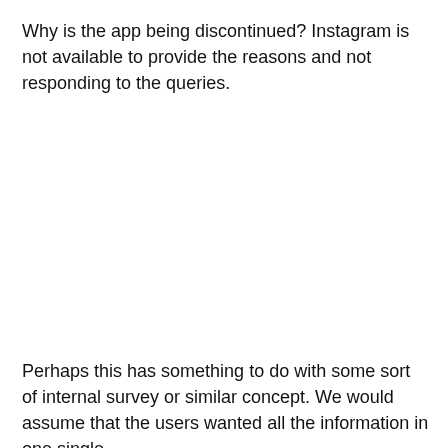Why is the app being discontinued? Instagram is not available to provide the reasons and not responding to the queries.
Perhaps this has something to do with some sort of internal survey or similar concept. We would assume that the users wanted all the information in one single